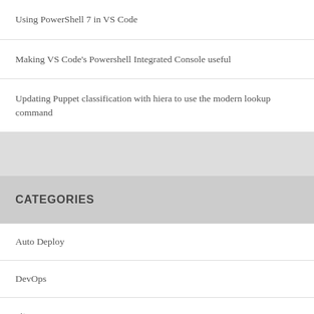Using PowerShell 7 in VS Code
Making VS Code's Powershell Integrated Console useful
Updating Puppet classification with hiera to use the modern lookup command
CATEGORIES
Auto Deploy
DevOps
git
Hyper-V